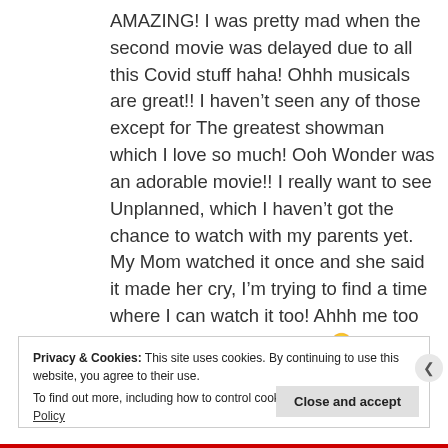AMAZING! I was pretty mad when the second movie was delayed due to all this Covid stuff haha! Ohhh musicals are great!! I haven't seen any of those except for The greatest showman which I love so much! Ooh Wonder was an adorable movie!! I really want to see Unplanned, which I haven't got the chance to watch with my parents yet. My Mom watched it once and she said it made her cry, I'm trying to find a time where I can watch it too! Ahhh me too girl! Movies are awesome! 😄
Privacy & Cookies: This site uses cookies. By continuing to use this website, you agree to their use.
To find out more, including how to control cookies, see here: Cookie Policy
Close and accept